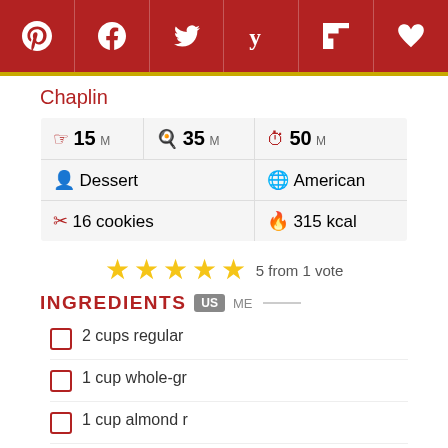[Figure (other): Social media sharing bar with Pinterest, Facebook, Twitter, Yummly, Flipboard, and heart/save icons on dark red background]
Chaplin
| 15 M (prep) | 35 M (cook) | 50 M (total) |
| Dessert | American |
| 16 cookies | 315 kcal |
5 from 1 vote
INGREDIENTS
2 cups regular
1 cup whole-gr
1 cup almond r
1/2 teaspoon aluminum free baking powder